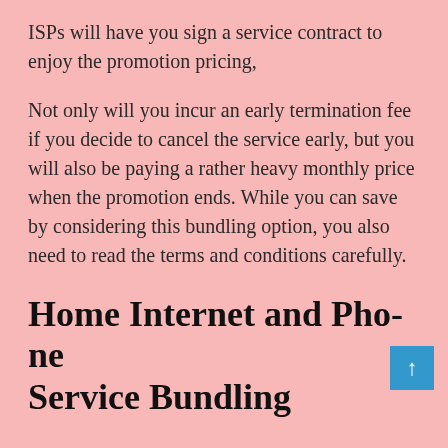ISPs will have you sign a service contract to enjoy the promotion pricing,
Not only will you incur an early termination fee if you decide to cancel the service early, but you will also be paying a rather heavy monthly price when the promotion ends. While you can save by considering this bundling option, you also need to read the terms and conditions carefully.
Home Internet and Phone Service Bundling